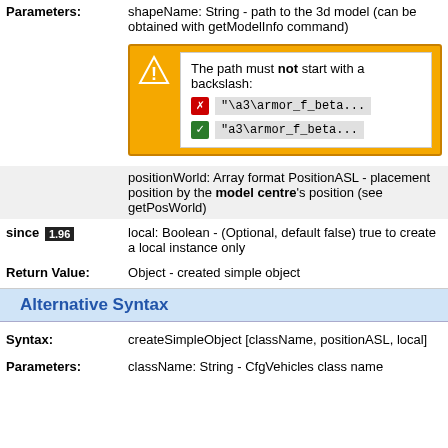Parameters: shapeName: String - path to the 3d model (can be obtained with getModelInfo command)
[Figure (infographic): Warning box with orange background, warning triangle icon, white content box. Shows: 'The path must not start with a backslash:' with two code examples: bad: "\a3\armor_f_beta... and good: "a3\armor_f_beta...]
positionWorld: Array format PositionASL - placement position by the model centre's position (see getPosWorld)
since 1.96  local: Boolean - (Optional, default false) true to create a local instance only
Return Value: Object - created simple object
Alternative Syntax
Syntax: createSimpleObject [className, positionASL, local]
Parameters: className: String - CfgVehicles class name